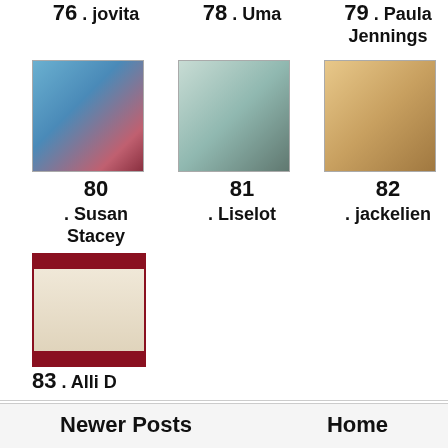76 . jovita
78 . Uma
79 . Paula Jennings
[Figure (photo): Craft card thumbnail for entry 80, blue themed]
[Figure (photo): Craft card thumbnail for entry 81, teal/patterned]
[Figure (photo): Craft card thumbnail for entry 82, tan/orange]
80 . Susan Stacey
81 . Liselot
82 . jackelien
[Figure (photo): Craft card thumbnail for entry 83, cream/white]
83 . Alli D
(Cannot add links: Registration/trial expired)
Posted by Annette at 07:30   10 comments:
Labels: A for Aminal, Stamp Fairy
Newer Posts
Home